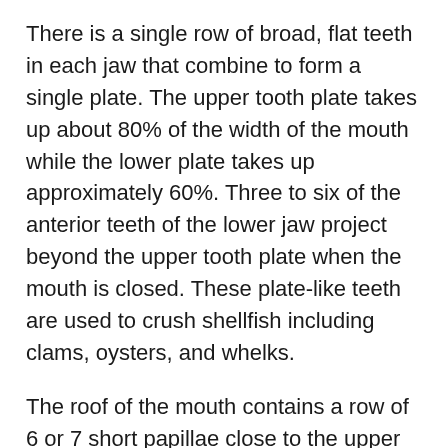There is a single row of broad, flat teeth in each jaw that combine to form a single plate. The upper tooth plate takes up about 80% of the width of the mouth while the lower plate takes up approximately 60%. Three to six of the anterior teeth of the lower jaw project beyond the upper tooth plate when the mouth is closed. These plate-like teeth are used to crush shellfish including clams, oysters, and whelks.
The roof of the mouth contains a row of 6 or 7 short papillae close to the upper dental plate while the floor has about 6 papillae. The papillae remove shells from prey items prior to ingestion.
Size, Age, and Growth
The spotted eagle ray reaches a maximum length of 8.2 feet (2.5 m) not including the tail, with the total length including an unbroken tail reaching close to